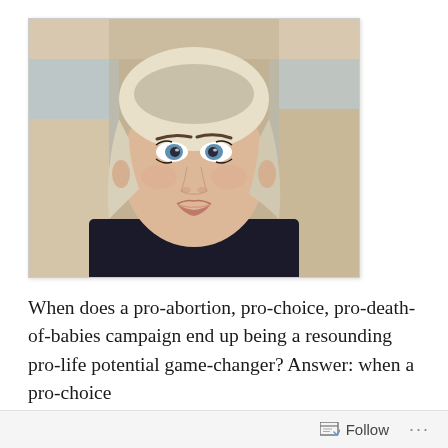[Figure (photo): A young woman with short blonde/platinum hair sitting in a car. She is looking slightly to the side, wearing a dark jacket with a teal top visible underneath. The car interior shows beige/tan seats and windows.]
When does a pro-abortion, pro-choice, pro-death-of-babies campaign end up being a resounding pro-life potential game-changer? Answer: when a pro-choice